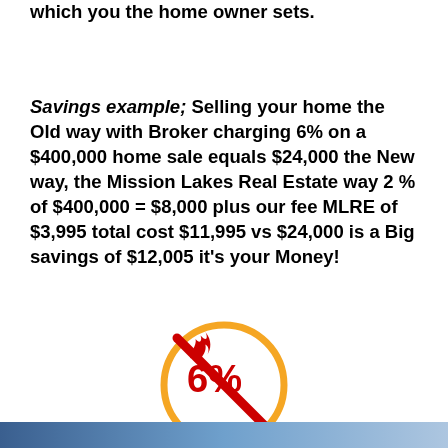which you the home owner sets.
Savings example; Selling your home the Old way with Broker charging 6% on a $400,000 home sale equals $24,000 the New way, the Mission Lakes Real Estate way 2 % of $400,000 = $8,000 plus our fee MLRE of $3,995 total cost $11,995 vs $24,000 is a Big savings of $12,005 it’s your Money!
[Figure (illustration): A no-6% symbol: orange circle with a red slash through it, containing '6%' text in red with a flame icon, indicating no 6% commission.]